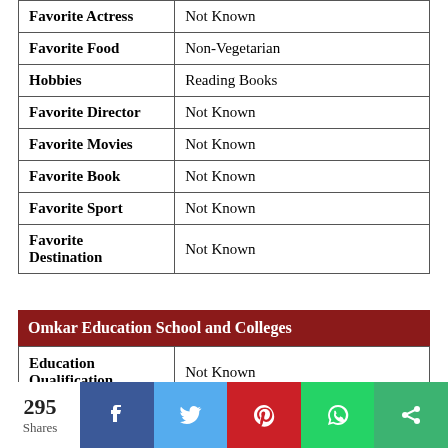| Field | Value |
| --- | --- |
| Favorite Actress | Not Known |
| Favorite Food | Non-Vegetarian |
| Hobbies | Reading Books |
| Favorite Director | Not Known |
| Favorite Movies | Not Known |
| Favorite Book | Not Known |
| Favorite Sport | Not Known |
| Favorite Destination | Not Known |
| Omkar Education School and Colleges |
| --- |
| Education Qualification | Not Known |
| School | Not Known |
295 Shares